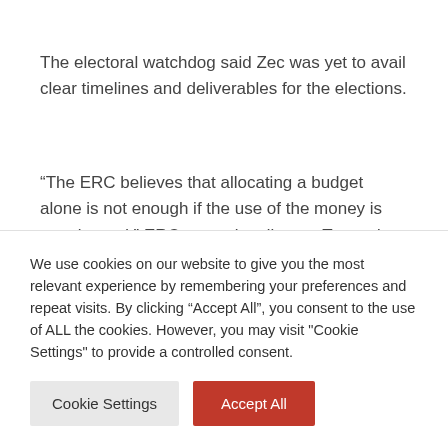The electoral watchdog said Zec was yet to avail clear timelines and deliverables for the elections.
“The ERC believes that allocating a budget alone is not enough if the use of the money is not planned,” ERC executive director Tawanda Chimhini said.
Presenting the 2018 National Budget on Thursday, Finance minister Patrick Chinamasa said the government would
We use cookies on our website to give you the most relevant experience by remembering your preferences and repeat visits. By clicking “Accept All”, you consent to the use of ALL the cookies. However, you may visit “Cookie Settings” to provide a controlled consent.